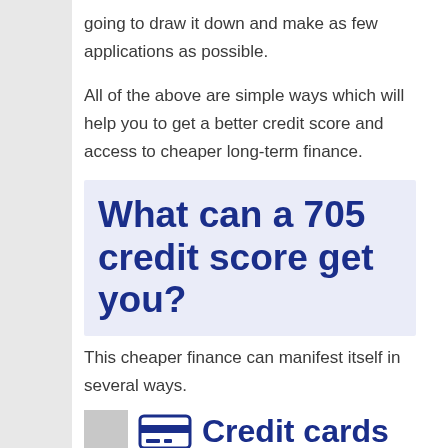going to draw it down and make as few applications as possible.
All of the above are simple ways which will help you to get a better credit score and access to cheaper long-term finance.
What can a 705 credit score get you?
This cheaper finance can manifest itself in several ways.
Credit cards